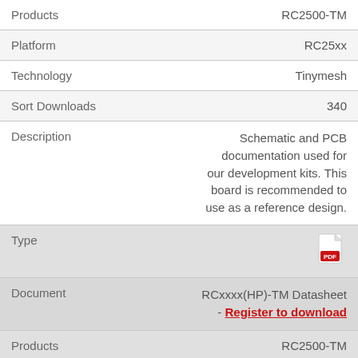| Field | Value |
| --- | --- |
| Products | RC2500-TM |
| Platform | RC25xx |
| Technology | Tinymesh |
| Sort Downloads | 340 |
| Description | Schematic and PCB documentation used for our development kits. This board is recommended to use as a reference design. |
| Type | [PDF icon] |
| Document | RCxxxx(HP)-TM Datasheet - Register to download |
| Products | RC2500-TM |
| Platform | RC25xx |
| Technology | Tiny Mesh |
| Sort Downloads | 310 |
| Description | This document covers the |